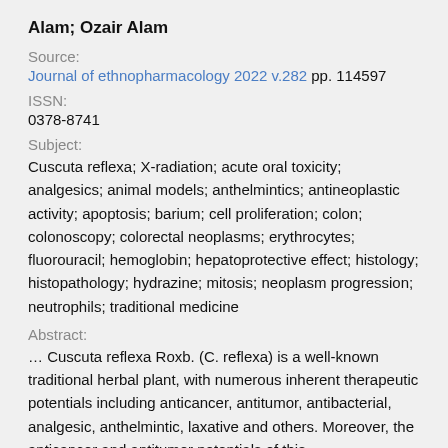Alam; Ozair Alam
Source:
Journal of ethnopharmacology 2022 v.282 pp. 114597
ISSN:
0378-8741
Subject:
Cuscuta reflexa; X-radiation; acute oral toxicity; analgesics; animal models; anthelmintics; antineoplastic activity; apoptosis; barium; cell proliferation; colon; colonoscopy; colorectal neoplasms; erythrocytes; fluorouracil; hemoglobin; hepatoprotective effect; histology; histopathology; hydrazine; mitosis; neoplasm progression; neutrophils; traditional medicine
Abstract:
… Cuscuta reflexa Roxb. (C. reflexa) is a well-known traditional herbal plant, with numerous inherent therapeutic potentials including anticancer, antitumor, antibacterial, analgesic, anthelmintic, laxative and others. Moreover, the anticancer and antitumor potentials of this